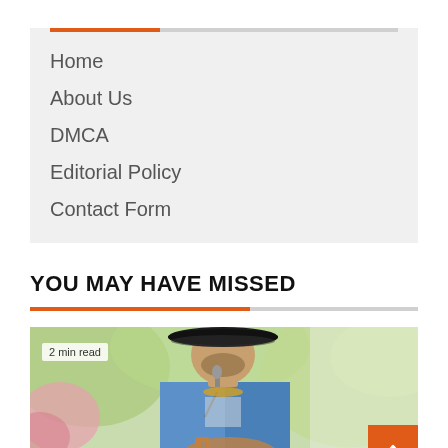Home
About Us
DMCA
Editorial Policy
Contact Form
YOU MAY HAVE MISSED
[Figure (photo): Man wearing a black cowboy hat singing into a microphone and playing guitar, wearing a blue denim shirt, outdoors with blurred green and pink foliage background. Badge reads '2 min read'.]